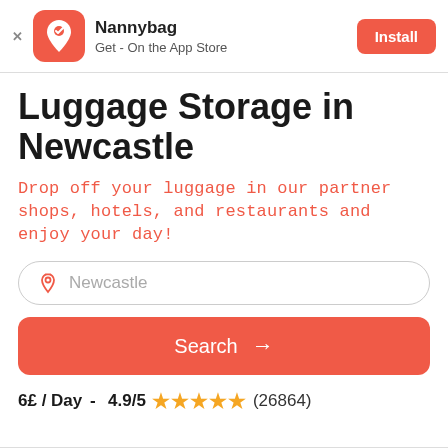[Figure (screenshot): Nannybag app install banner with orange app icon, app name, tagline, and Install button]
Luggage Storage in Newcastle
Drop off your luggage in our partner shops, hotels, and restaurants and enjoy your day!
Newcastle (search input field)
Search →
6£ / Day -  4.9/5 ★★★★★ (26864)